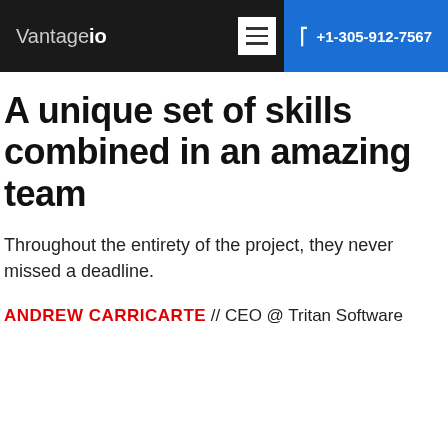Vantageio  +1-305-912-7567
A unique set of skills combined in an amazing team
Throughout the entirety of the project, they never missed a deadline.
ANDREW CARRICARTE  //  CEO @ Tritan Software